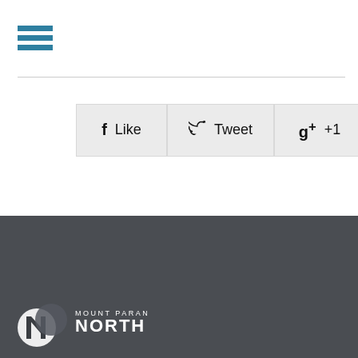[Figure (logo): Hamburger menu icon with three horizontal teal/blue bars]
[Figure (infographic): Social sharing buttons row: Facebook Like, Twitter Tweet, Google+ +1]
[Figure (logo): Mount Paran North church logo with circular emblem and text 'MOUNT PARAN NORTH' in white on dark gray footer background]